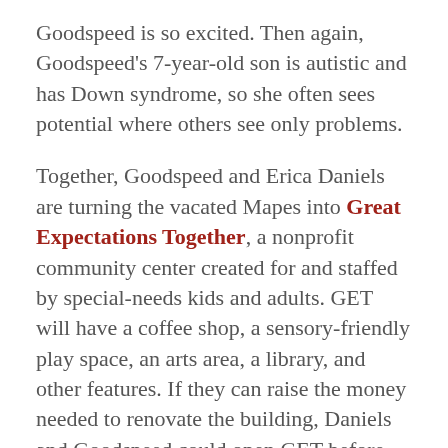Goodspeed is so excited. Then again, Goodspeed's 7-year-old son is autistic and has Down syndrome, so she often sees potential where others see only problems.
Together, Goodspeed and Erica Daniels are turning the vacated Mapes into Great Expectations Together, a nonprofit community center created for and staffed by special-needs kids and adults. GET will have a coffee shop, a sensory-friendly play space, an arts area, a library, and other features. If they can raise the money needed to renovate the building, Daniels and Goodspeed could open GET before the end of 2018. “This is going to be fantastic,” says Daniels, whose 12-year-old son has severe autism.